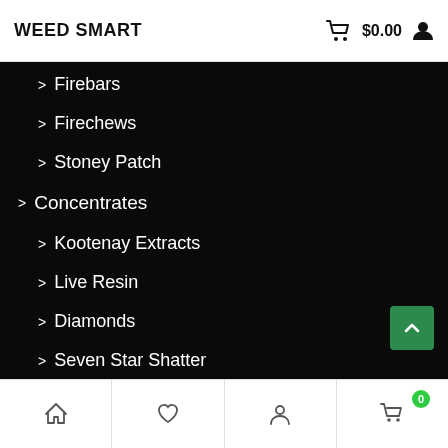WEED SMART  $0.00
> Firebars
> Firechews
> Stoney Patch
> Concentrates
> Kootenay Extracts
> Live Resin
> Diamonds
> Seven Star Shatter
> Hash
> Culture Vape Pens